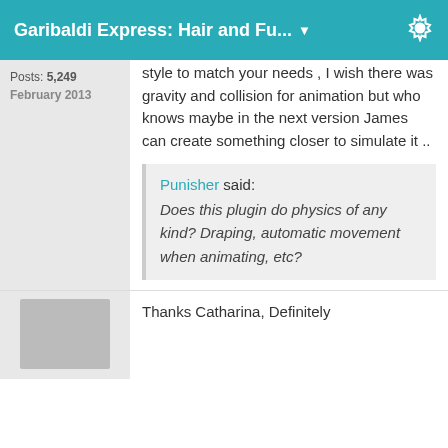Garibaldi Express: Hair and Fu...
Posts: 5,249
February 2013
style to match your needs , I wish there was gravity and collision for animation but who knows maybe in the next version James can create something closer to simulate it ..
Punisher said: Does this plugin do physics of any kind? Draping, automatic movement when animating, etc?
[Figure (photo): Avatar image placeholder (gray box)]
Thanks Catharina, Definitely